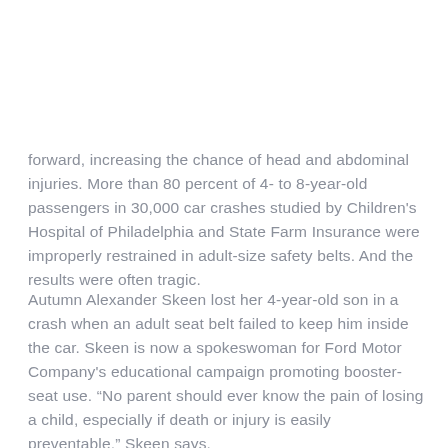forward, increasing the chance of head and abdominal injuries. More than 80 percent of 4- to 8-year-old passengers in 30,000 car crashes studied by Children's Hospital of Philadelphia and State Farm Insurance were improperly restrained in adult-size safety belts. And the results were often tragic.
Autumn Alexander Skeen lost her 4-year-old son in a crash when an adult seat belt failed to keep him inside the car. Skeen is now a spokeswoman for Ford Motor Company's educational campaign promoting booster-seat use. “No parent should ever know the pain of losing a child, especially if death or injury is easily preventable,” Skeen says.